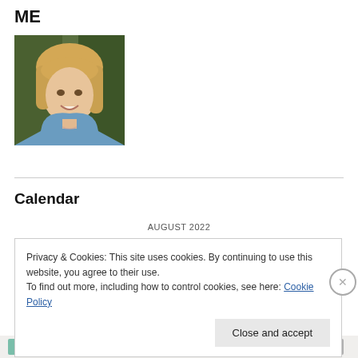ME
[Figure (photo): Portrait photo of a smiling middle-aged woman with long blonde hair wearing a blue top, photographed outdoors with green background]
Calendar
AUGUST 2022
Privacy & Cookies: This site uses cookies. By continuing to use this website, you agree to their use.
To find out more, including how to control cookies, see here: Cookie Policy